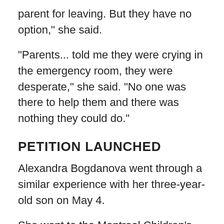parent for leaving. But they have no option," she said.
"Parents... told me they were crying in the emergency room, they were desperate," she said. "No one was there to help them and there was nothing they could do."
PETITION LAUNCHED
Alexandra Bogdanova went through a similar experience with her three-year-old son on May 4.
She went to the Montreal Children's Hospital after her son had a fever for five days and couldn't find an appointment at any of the clinics nearby.